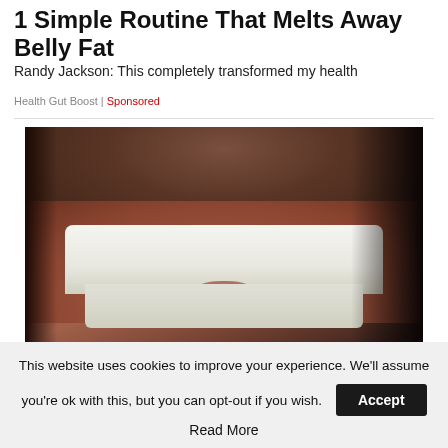1 Simple Routine That Melts Away Belly Fat
Randy Jackson: This completely transformed my health
Health Gut Boost | Sponsored
[Figure (photo): Close-up photo of a man's lower face showing a wide smile with bright white teeth and stubble beard]
This website uses cookies to improve your experience. We'll assume you're ok with this, but you can opt-out if you wish. Accept Read More